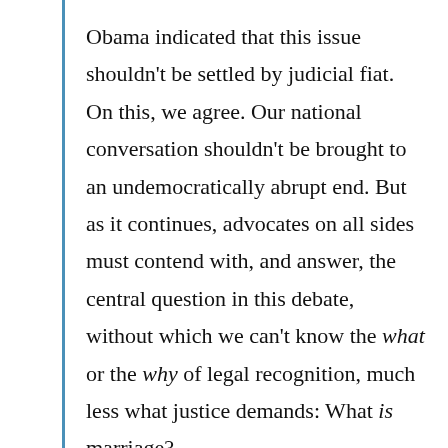Obama indicated that this issue shouldn't be settled by judicial fiat. On this, we agree. Our national conversation shouldn't be brought to an undemocratically abrupt end. But as it continues, advocates on all sides must contend with, and answer, the central question in this debate, without which we can't know the what or the why of legal recognition, much less what justice demands: What is marriage?